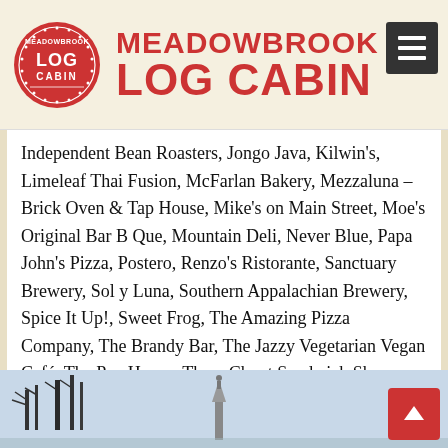[Figure (logo): Meadowbrook Log Cabin logo: circular red badge with white text 'MEADOWBROOK LOG CABIN' and decorative wreath, alongside large red uppercase text 'MEADOWBROOK LOG CABIN']
Independent Bean Roasters, Jongo Java, Kilwin's, Limeleaf Thai Fusion, McFarlan Bakery, Mezzaluna – Brick Oven & Tap House, Mike's on Main Street, Moe's Original Bar B Que, Mountain Deli, Never Blue, Papa John's Pizza, Postero, Renzo's Ristorante, Sanctuary Brewery, Sol y Luna, Southern Appalachian Brewery, Spice It Up!, Sweet Frog, The Amazing Pizza Company, The Brandy Bar, The Jazzy Vegetarian Vegan Café, The Poe House, Three Chopt Sandwich Shoppe, Triskelion Brewing Company, Umi Japanese Fine Dining, West First Wood Fired Pizza and Wine Sage and Gourmet. This list changes all the time.
[Figure (photo): Partial bottom image showing a winter scene with trees and a monument or statue silhouette against a light blue sky]